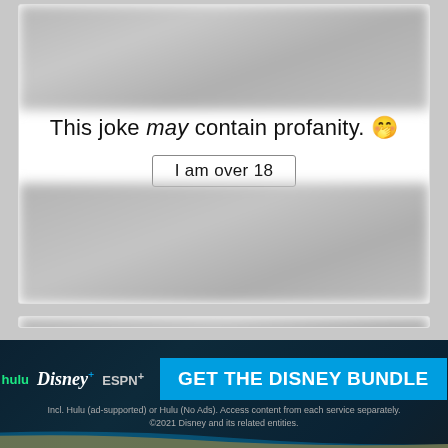[Figure (screenshot): Blurred content region at top of first card]
This joke may contain profanity. 🤭
I am over 18
[Figure (screenshot): Blurred content region at top of second card]
This joke may contain profanity. 🤭
I am over 18
[Figure (infographic): Disney Bundle advertisement banner showing hulu, Disney+, ESPN+ logos with 'GET THE DISNEY BUNDLE' call to action. Fine print: Incl. Hulu (ad-supported) or Hulu (No Ads). Access content from each service separately. ©2021 Disney and its related entities.]